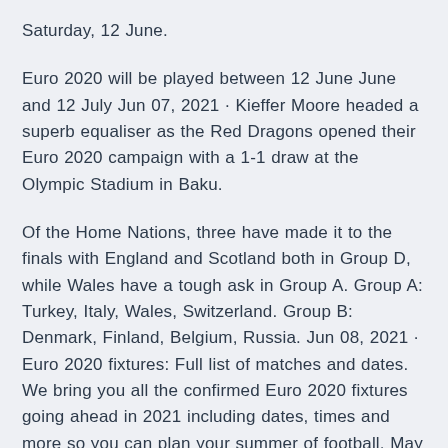Saturday, 12 June.
Euro 2020 will be played between 12 June June and 12 July Jun 07, 2021 · Kieffer Moore headed a superb equaliser as the Red Dragons opened their Euro 2020 campaign with a 1-1 draw at the Olympic Stadium in Baku.
Of the Home Nations, three have made it to the finals with England and Scotland both in Group D, while Wales have a tough ask in Group A. Group A: Turkey, Italy, Wales, Switzerland. Group B: Denmark, Finland, Belgium, Russia. Jun 08, 2021 · Euro 2020 fixtures: Full list of matches and dates. We bring you all the confirmed Euro 2020 fixtures going ahead in 2021 including dates, times and more so you can plan your summer of football. May 31, 2021 · Euro 2020 | Group A: Turkey, Italy, Wales